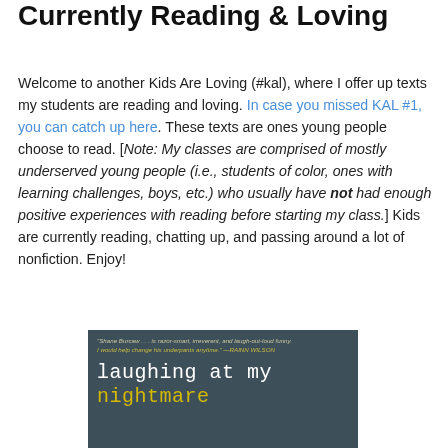Currently Reading & Loving
Welcome to another Kids Are Loving (#kal), where I offer up texts my students are reading and loving. In case you missed KAL #1, you can catch up here. These texts are ones young people choose to read. [Note: My classes are comprised of mostly underserved young people (i.e., students of color, ones with learning challenges, boys, etc.) who usually have not had enough positive experiences with reading before starting my class.] Kids are currently reading, chatting up, and passing around a lot of nonfiction. Enjoy!
[Figure (photo): Book cover of 'laughing at my nightmare' showing dark teal background with a quote from Rainn Wilson at the top and the book title in white and yellow courier-style font]